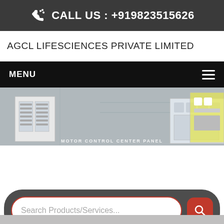CALL US : +919823515626
AGCL LIFESCIENCES PRIVATE LIMITED
MENU
[Figure (photo): Photograph of industrial electrical panels (Motor Control Center Panel) inside a factory or warehouse setting, gray background]
Search Products/Services...